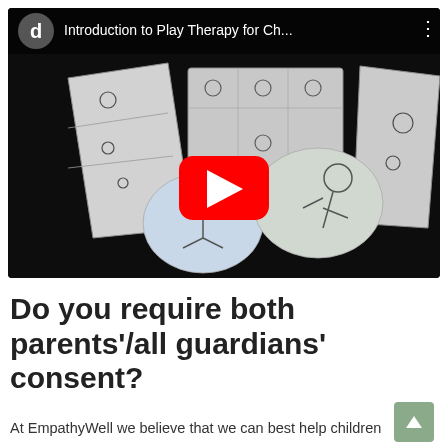[Figure (screenshot): YouTube video thumbnail showing a play therapy introduction video. Dark background with paper cutout illustrations of toy cabinets, human figures, and play items. Video title bar at top reads 'Introduction to Play Therapy for Ch...' with a YouTube 'd' channel avatar and three-dot menu. Red YouTube play button in the center.]
Do you require both parents'/all guardians' consent?
At EmpathyWell we believe that we can best help children